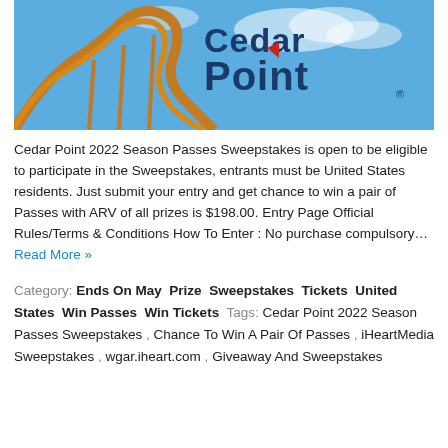[Figure (photo): Cedar Point amusement park photo showing roller coaster track in orange/gold color against blue sky, with Cedar Point logo text in dark blue at top center]
Cedar Point 2022 Season Passes Sweepstakes is open to be eligible to participate in the Sweepstakes, entrants must be United States residents. Just submit your entry and get chance to win a pair of Passes with ARV of all prizes is $198.00. Entry Page Official Rules/Terms & Conditions How To Enter : No purchase compulsory… Read More »
Category: Ends On May Prize Sweepstakes Tickets United States Win Passes Win Tickets Tags: Cedar Point 2022 Season Passes Sweepstakes , Chance To Win A Pair Of Passes , iHeartMedia Sweepstakes , wgar.iheart.com , Giveaway And Sweepstakes